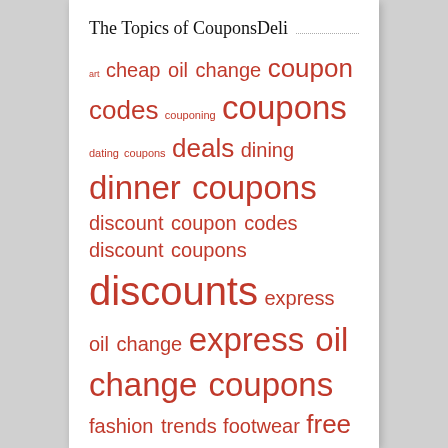The Topics of CouponsDeli
art cheap oil change coupon codes couponing coupons dating coupons deals dining dinner coupons discount coupon codes discount coupons discounts express oil change express oil change coupons fashion trends footwear free coupon codes free coupons free haircut deals great haircut sale grocery coupons hair haircut kids meal coupons kids shoes lunch coupons mens shoes mobile coupons oil change coupons oil change near me online coupons